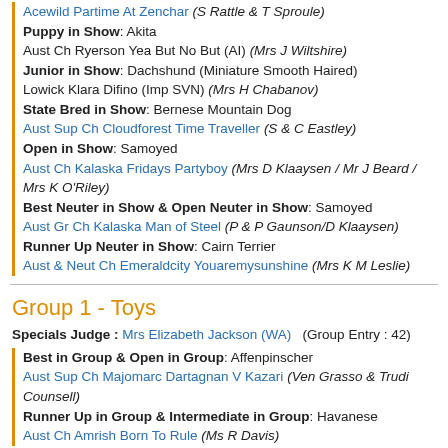Acewild Partime At Zenchar (S Rattle & T Sproule)
Puppy in Show: Akita
Aust Ch Ryerson Yea But No But (AI) (Mrs J Wiltshire)
Junior in Show: Dachshund (Miniature Smooth Haired)
Lowick Klara Difino (Imp SVN) (Mrs H Chabanov)
State Bred in Show: Bernese Mountain Dog
Aust Sup Ch Cloudforest Time Traveller (S & C Eastley)
Open in Show: Samoyed
Aust Ch Kalaska Fridays Partyboy (Mrs D Klaaysen / Mr J Beard / Mrs K O'Riley)
Best Neuter in Show & Open Neuter in Show: Samoyed
Aust Gr Ch Kalaska Man of Steel (P & P Gaunson/D Klaaysen)
Runner Up Neuter in Show: Cairn Terrier
Aust & Neut Ch Emeraldcity Youaremysunshine (Mrs K M Leslie)
Group 1 - Toys
Specials Judge : Mrs Elizabeth Jackson (WA)  (Group Entry : 42)
Best in Group & Open in Group: Affenpinscher
Aust Sup Ch Majomarc Dartagnan V Kazari (Ven Grasso & Trudi Counsell)
Runner Up in Group & Intermediate in Group: Havanese
Aust Ch Amrish Born To Rule (Ms R Davis)